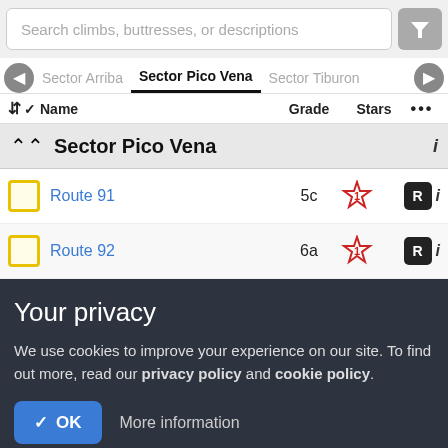Search climbs, buttresses, or descriptions
Sector Arriba  Sector Pico Vena  Sector Tiburon
Name  Grade  Stars
Sector Pico Vena
Route 91  5c
Route 92  6a
Your privacy
We use cookies to improve your experience on our site. To find out more, read our privacy policy and cookie policy.
✓ OK  More information